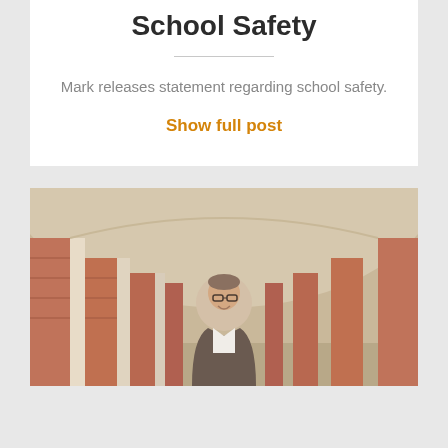School Safety
Mark releases statement regarding school safety.
Show full post
[Figure (photo): A man in a blazer and glasses smiling, standing in a brick-columned corridor with arched ceiling, photographed from a low angle looking down the hallway.]